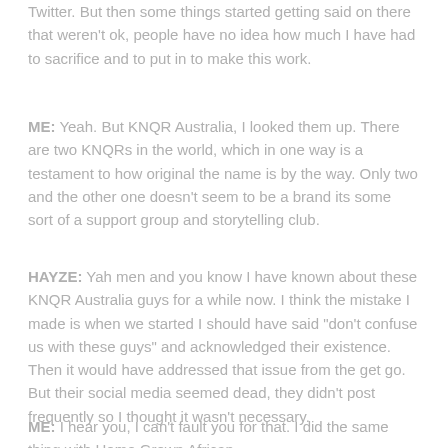Twitter. But then some things started getting said on there that weren't ok, people have no idea how much I have had to sacrifice and to put in to make this work.
ME: Yeah. But KNQR Australia, I looked them up. There are two KNQRs in the world, which in one way is a testament to how original the name is by the way. Only two and the other one doesn't seem to be a brand its some sort of a support group and storytelling club.
HAYZE: Yah men and you know I have known about these KNQR Australia guys for a while now. I think the mistake I made is when we started I should have said "don't confuse us with these guys" and acknowledged their existence. Then it would have addressed that issue from the get go. But their social media seemed dead, they didn't post frequently so I thought it wasn't necessary.
ME: I hear you, I can't fault you for that. I did the same thing with Home Grown African.